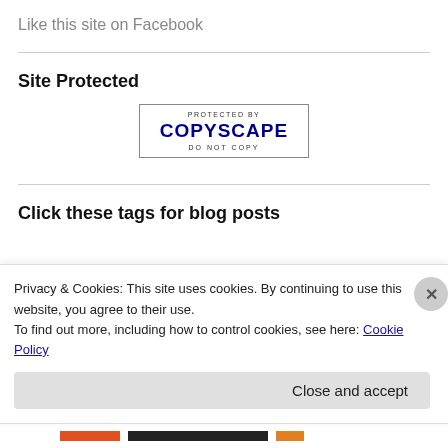Like this site on Facebook
Site Protected
[Figure (logo): Copyscape 'Protected by Copyscape — Do Not Copy' badge with blue text and border]
Click these tags for blog posts
Privacy & Cookies: This site uses cookies. By continuing to use this website, you agree to their use.
To find out more, including how to control cookies, see here: Cookie Policy
Close and accept